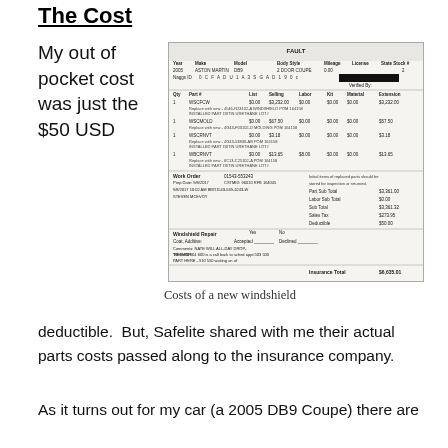The Cost
My out of pocket cost was just the $50 USD
[Figure (photo): A scanned Safelite windshield replacement invoice/receipt showing vehicle information (2005 Aston Martin DB9, 2 Door Coupe), parts and labor costs including WSCFCW, WSCMOLD, WSCRNVT line items, work order details, and a total insurance amount.]
Costs of a new windshield
deductible. But, Safelite shared with me their actual parts costs passed along to the insurance company.
As it turns out for my car (a 2005 DB9 Coupe) there are